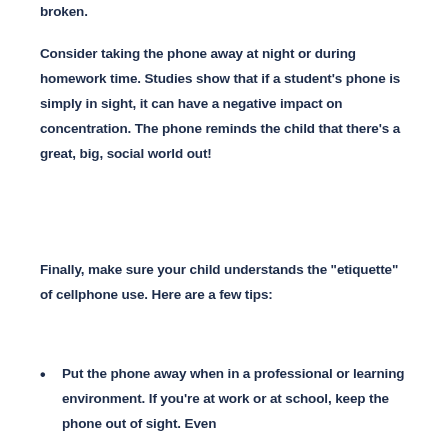broken.
Consider taking the phone away at night or during homework time. Studies show that if a student's phone is simply in sight, it can have a negative impact on concentration. The phone reminds the child that there’s a great, big, social world out!
Finally, make sure your child understands the “etiquette” of cellphone use. Here are a few tips:
Put the phone away when in a professional or learning environment. If you’re at work or at school, keep the phone out of sight. Even